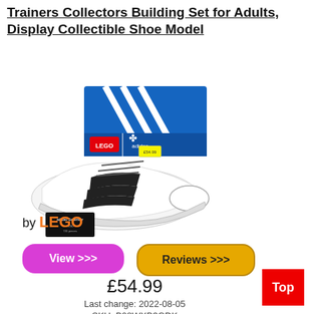Trainers Collectors Building Set for Adults, Display Collectible Shoe Model
[Figure (photo): LEGO Adidas Superstar shoe model building set shown assembled next to its blue Adidas-branded box with LEGO and adidas logos]
View >>>
Reviews >>>
by LEGO
£54.99
Last change: 2022-08-05
SKU: B08WXB3GDK
Top